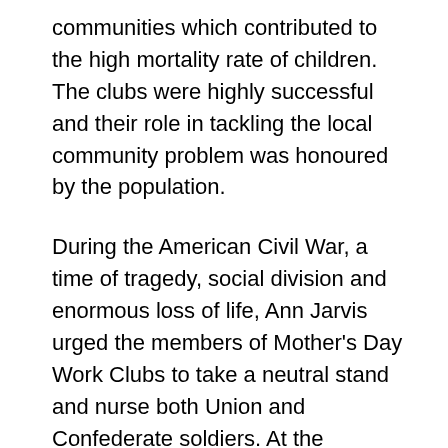communities which contributed to the high mortality rate of children. The clubs were highly successful and their role in tackling the local community problem was honoured by the population.
During the American Civil War, a time of tragedy, social division and enormous loss of life, Ann Jarvis urged the members of Mother's Day Work Clubs to take a neutral stand and nurse both Union and Confederate soldiers. At the conclusion of the war she organized a Mothers' Friendship Day in her community, which was done to bring together soldiers and neighbours of all political beliefs. The event was a big success and came to be organised annually for